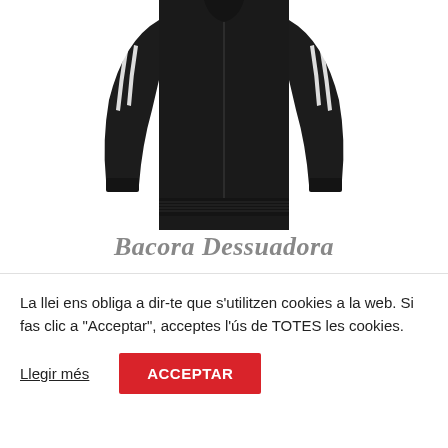[Figure (photo): A black track jacket / sweatshirt with white stripes on the sleeves, displayed on a white background, cropped to show the torso and arms.]
Bacora Dessuadora
25,00€
La llei ens obliga a dir-te que s'utilitzen cookies a la web. Si fas clic a "Acceptar", acceptes l'ús de TOTES les cookies.
Llegir més
ACCEPTAR